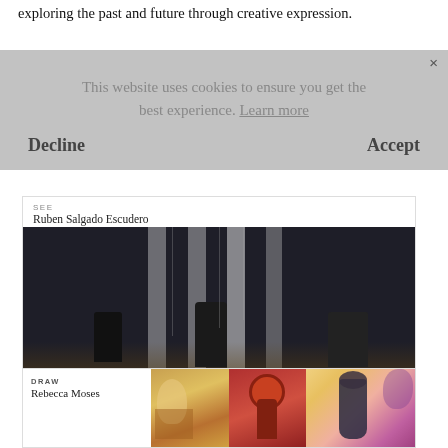exploring the past and future through creative expression.
This website uses cookies to ensure you get the best experience. Learn more
Decline
Accept
[Figure (screenshot): Magazine card: SEE Ruben Salgado Escudero, photo of people at night near pillars, Spain & Global, OVID MAGAZINE / 86, JUNE 2021]
[Figure (screenshot): Magazine card: DRAW Rebecca Moses, colorful paintings and artist photo]